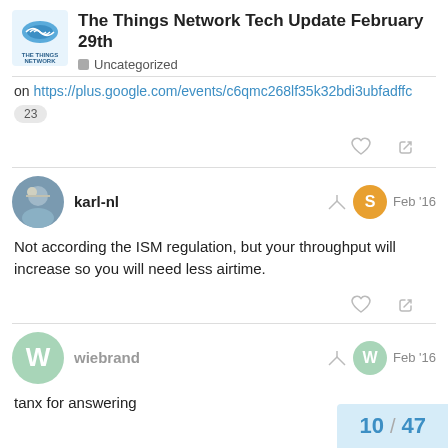The Things Network Tech Update February 29th
Uncategorized
on https://plus.google.com/events/c6qmc268lf35k32bdi3ubfadffc
23
karl-nl  Feb '16
Not according the ISM regulation, but your throughput will increase so you will need less airtime.
wiebrand  Feb '16
tanx for answering
10 / 47